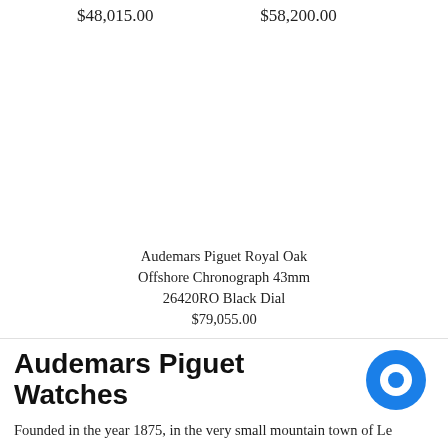$48,015.00
$58,200.00
Audemars Piguet Royal Oak Offshore Chronograph 43mm 26420RO Black Dial
$79,055.00
Audemars Piguet Watches
Founded in the year 1875, in the very small mountain town of Le